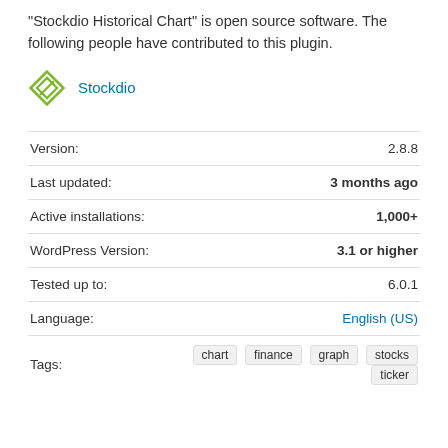“Stockdio Historical Chart” is open source software. The following people have contributed to this plugin.
Stockdio
| Field | Value |
| --- | --- |
| Version: | 2.8.8 |
| Last updated: | 3 months ago |
| Active installations: | 1,000+ |
| WordPress Version: | 3.1 or higher |
| Tested up to: | 6.0.1 |
| Language: | English (US) |
| Tags: | chart  finance  graph  stocks  ticker |